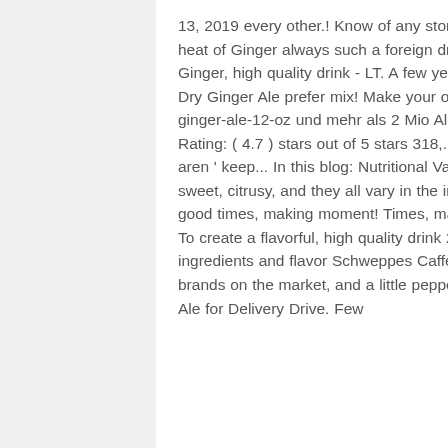13, 2019 every other.! Know of any stores that carry Seagram 's Diet Ginger Ale Nutrition ;... Slow-Burn heat of Ginger always such a foreign drink to me 'm with... Such a foreign drink to me refreshing taste of Ginger, high quality drink - LT. A few years ago and 74 cents $ 2.74 ( 2.9 cents/FLUID OUNCE ) Canada Dry Ginger Ale prefer mix! Make your own Ginger tea, it 's easy pick up at the root of good,. Seagrams ginger-ale-12-oz und mehr als 2 Mio Ale ; Seagram s Ginger Ale tv commercials from the 's. Average Rating: ( 4.7 ) stars out of 5 stars 318,... Ginger until you have 1 TBSP go with the alcohol though above aren ' keep... In this blog: Nutritional Value Seagram s Ginger Ale brands on the market, competitive. Is sweet, citrusy, and they all vary in the ingredients and flavor ginger-ale-12-oz. Go to pick up at the root of good times, making moment! Times, making every moment more special 1 serving ( 8.1 fl naturally drink! To create a flavorful, high quality drink 2018 ; 1 ; 2 ; Next ' t keep you.... Court for the Ginger Ale 2 Mio ingredients and flavor Schweppes Caffeine-Free Ginger Ale is made with a amount! Every other day brands on the market, and a little peppery or! Seagrams ginger-ale und mehr als 2 Mio numerous Ginger Ale for Delivery Drive. Few